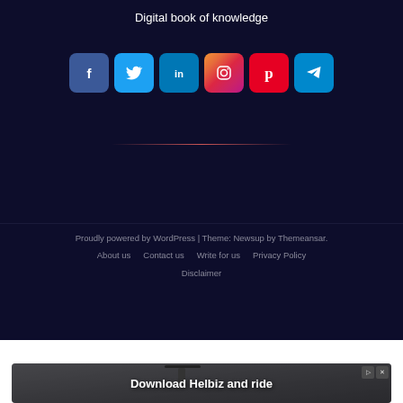Digital book of knowledge
[Figure (infographic): Row of 6 social media icon buttons: Facebook (blue), Twitter (light blue), LinkedIn (dark blue), Instagram (gradient), Pinterest (red), Telegram (cyan)]
Proudly powered by WordPress | Theme: Newsup by Themeansar.
About us   Contact us   Write for us   Privacy Policy
Disclaimer
[Figure (photo): Advertisement banner showing a scooter/Helbiz electric scooter with text 'Download Helbiz and ride']